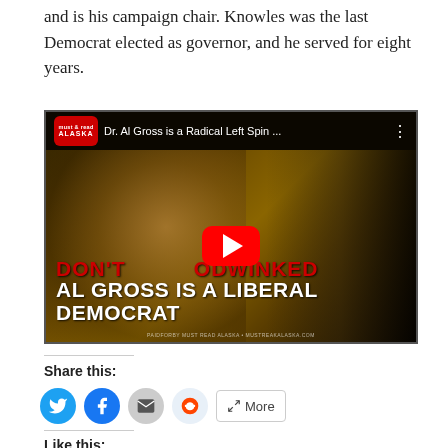and is his campaign chair. Knowles was the last Democrat elected as governor, and he served for eight years.
[Figure (screenshot): YouTube video thumbnail showing a political ad titled 'Dr. Al Gross is a Radical Left Spin...' with text 'DON'T BE HOODWINKED AL GROSS IS A LIBERAL DEMOCRAT' overlaid on an image of a man's face. The Must Read Alaska logo is visible in the top left corner. A YouTube play button is visible in the center.]
Share this:
[Figure (other): Social share buttons: Twitter (blue circle), Facebook (blue circle), Email (grey circle), Reddit (light blue circle), and a More button]
Like this: